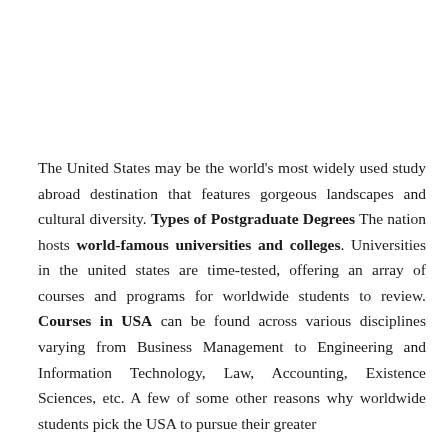The United States may be the world's most widely used study abroad destination that features gorgeous landscapes and cultural diversity. Types of Postgraduate Degrees The nation hosts world-famous universities and colleges. Universities in the united states are time-tested, offering an array of courses and programs for worldwide students to review. Courses in USA can be found across various disciplines varying from Business Management to Engineering and Information Technology, Law, Accounting, Existence Sciences, etc. A few of some other reasons why worldwide students pick the USA to pursue their greater